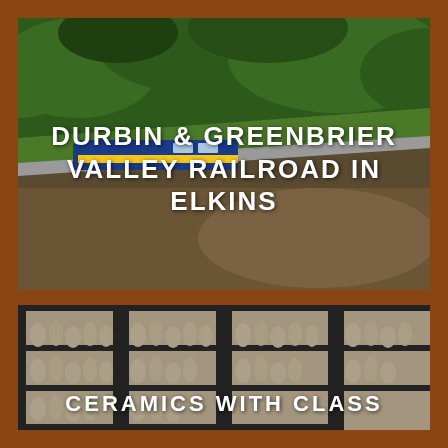[Figure (photo): Aerial view of a train (blue and yellow locomotive) traveling along a river with dense green forest hillside, Durbin & Greenbrier Valley Railroad in Elkins]
DURBIN & GREENBRIER VALLEY RAILROAD IN ELKINS
[Figure (photo): Interior of a ceramics studio with shelves filled with rows of ceramic figurines and busts in progress, Ceramics With Class]
CERAMICS WITH CLASS